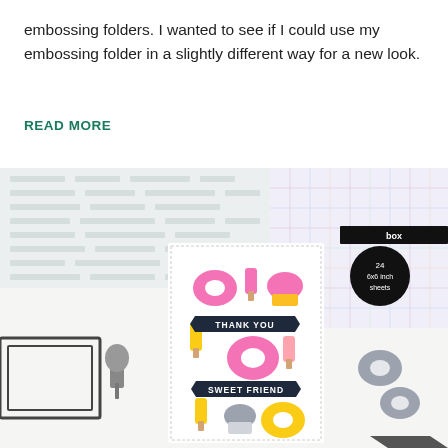embossing folders. I wanted to see if I could use my embossing folder in a slightly different way for a new look.
READ MORE
[Figure (photo): Flat lay photo of craft supplies including clear stamp sets with text, a greeting card featuring colorful donut, popsicle and cupcake die cuts in pink and yellow with banners reading THANK YOU and SWEET FRIEND, grey metal die cuts of donuts and popsicles, a black picture frame die, and pastel plaid patterned paper with a circular label reading 24 6x6 inch sheets box.]